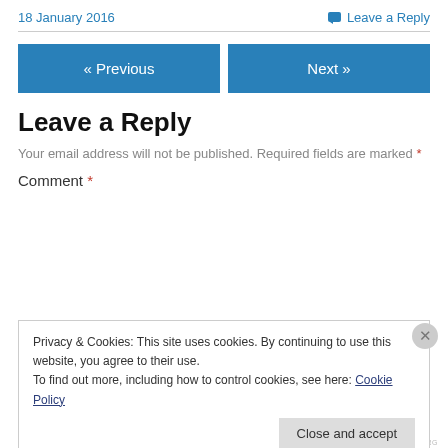18 January 2016
Leave a Reply
« Previous
Next »
Leave a Reply
Your email address will not be published. Required fields are marked *
Comment *
Privacy & Cookies: This site uses cookies. By continuing to use this website, you agree to their use.
To find out more, including how to control cookies, see here: Cookie Policy
Close and accept